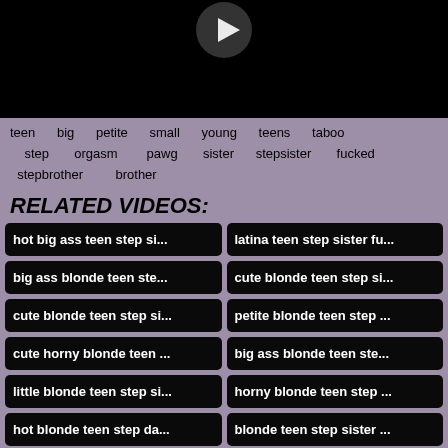[Figure (photo): Black video player area with a partially visible play/pause icon at top]
teen  big  petite  small  young  teens  taboo  step  orgasm  pawg  sister  stepsister  fucked  stepbrother  brother
RELATED VIDEOS:
hot big ass teen step si...
latina teen step sister fu...
big ass blonde teen ste...
cute blonde teen step si...
cute blonde teen step si...
petite blonde teen step ...
cute horny blonde teen ...
big ass blonde teen ste...
little blonde teen step si...
horny blonde teen step ...
hot blonde teen step da...
blonde teen step sister ...
cute blonde teen step si...
hot tiny teen step sister ...
petite teen step sister at...
cute big ass teen step si...